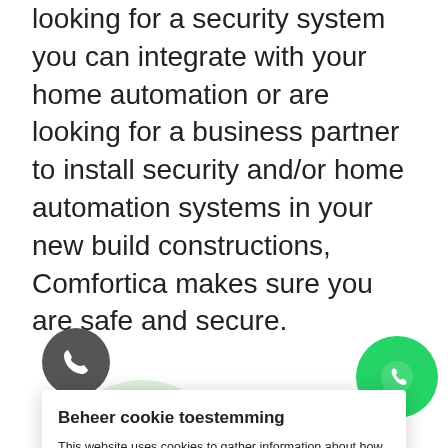looking for a security system you can integrate with your home automation or are looking for a business partner to install security and/or home automation systems in your new build constructions, Comfortica makes sure you are safe and secure.
Beheer cookie toestemming
This website uses cookies to gather information about how our services are used and to improve and adapt our services to the needs of our visitors. Cookies are also used for our own marketing purposes, including online advertisements and analytics.
Accept
Dismiss
Wireless and wired systems
Integration with home automation system
Renowned European brand Satel
[Figure (illustration): Green circle with wifi/signal icon (background element)]
[Figure (illustration): Dark grey circular phone call button, bottom left]
[Figure (illustration): Green WhatsApp circular button with phone icon, bottom right]